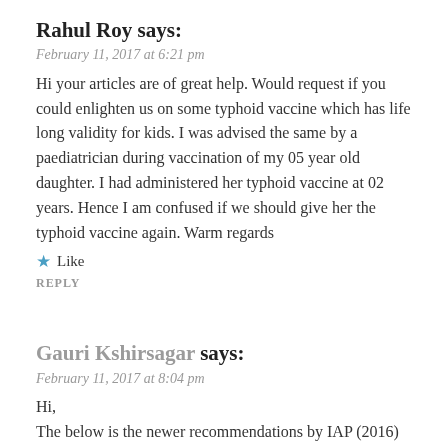Rahul Roy says:
February 11, 2017 at 6:21 pm
Hi your articles are of great help. Would request if you could enlighten us on some typhoid vaccine which has life long validity for kids. I was advised the same by a paediatrician during vaccination of my 05 year old daughter. I had administered her typhoid vaccine at 02 years. Hence I am confused if we should give her the typhoid vaccine again. Warm regards
★ Like
REPLY
Gauri Kshirsagar says:
February 11, 2017 at 8:04 pm
Hi,
The below is the newer recommendations by IAP (2016)
There are two types of Typhoid vaccines: Vi-PS conjugate and Vi-PS (polysaccharide) vaccines, in which Vi conjugate